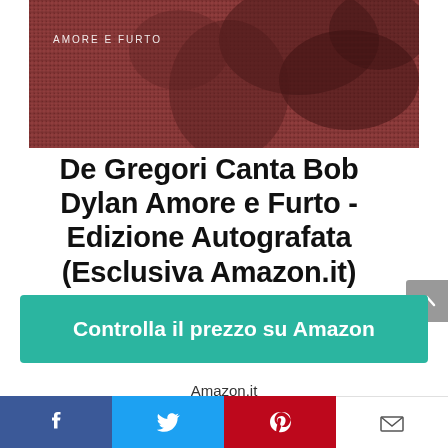[Figure (photo): Album cover for 'Amore e Furto' showing a close-up reddish-brown textured image with small white text 'AMORE E FURTO' in the upper left]
De Gregori Canta Bob Dylan Amore e Furto - Edizione Autografata (Esclusiva Amazon.it)
Controlla il prezzo su Amazon
Amazon.it